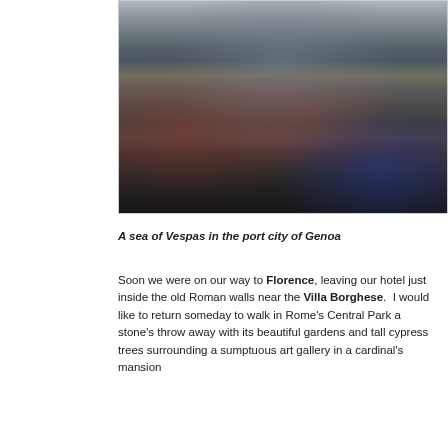[Figure (photo): A large crowd of Vespas and scooters parked densely on a street in the port city of Genoa, Italy, with tall buildings in the background.]
A sea of Vespas in the port city of Genoa
Soon we were on our way to Florence, leaving our hotel just inside the old Roman walls near the Villa Borghese.  I would like to return someday to walk in Rome's Central Park a stone's throw away with its beautiful gardens and tall cypress trees surrounding a sumptuous art gallery in a cardinal's mansion